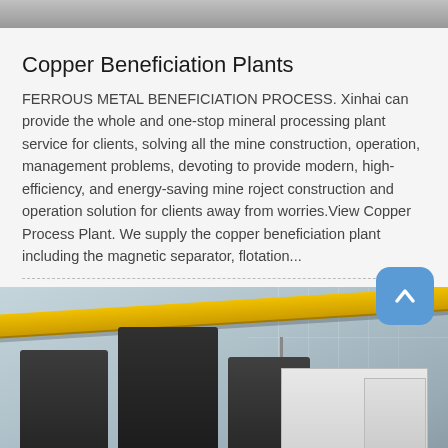[Figure (photo): Top strip showing partial industrial/factory image]
Copper Beneficiation Plants
FERROUS METAL BENEFICIATION PROCESS. Xinhai can provide the whole and one-stop mineral processing plant service for clients, solving all the mine construction, operation, management problems, devoting to provide modern, high-efficiency, and energy-saving mine roject construction and operation solution for clients away from worries.View Copper Process Plant. We supply the copper beneficiation plant including the magnetic separator, flotation...
[Figure (photo): Interior of an industrial factory or processing plant with yellow overhead crane beam and large dark industrial machines]
Send Message   Free Consultation